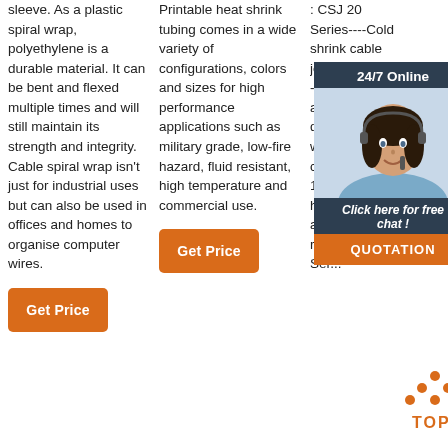sleeve. As a plastic spiral wrap, polyethylene is a durable material. It can be bent and flexed multiple times and will still maintain its strength and integrity. Cable spiral wrap isn't just for industrial uses but can also be used in offices and homes to organise computer wires.
Printable heat shrink tubing comes in a wide variety of configurations, colors and sizes for high performance applications such as military grade, low-fire hazard, fluid resistant, high temperature and commercial use.
: CSJ 20 Series----Cold shrink cable joints for 1/C, 5 - 15 kV XLPE and EPR e... dielectric tape, w... shielded cables 3:1: 12 110°C: lighting high im... abrasio... resista... 3G Ser...
[Figure (other): 24/7 Online chat support popup with woman wearing headset, 'Click here for free chat!' text and QUOTATION button in orange]
Get Price
Get Price
Get Price
[Figure (logo): TOP logo with orange dots arranged in a triangular shape above the word TOP]